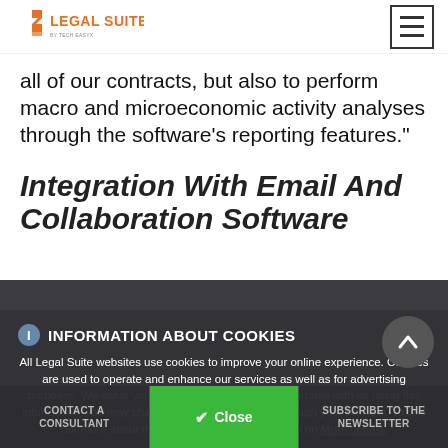Legal Suite logo and navigation
all of our contracts, but also to perform macro and microeconomic activity analyses through the software's reporting features."
Integration With Email And Collaboration Software
INFORMATION ABOUT COOKIES
All Legal Suite websites use cookies to improve your online experience. Cookies are used to operate and enhance our services as well as for advertising purposes. We value your privacy. If you are not comfortable with us using this information, you may change your cookie settings through your browser. To find out more about the cookies we use, click below on More details.
CONTACT A CONSULTANT | BROCHURE | SUBSCRIBE TO THE NEWSLETTER